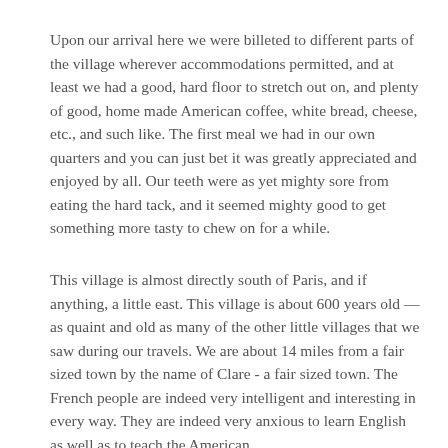Upon our arrival here we were billeted to different parts of the village wherever accommodations permitted, and at least we had a good, hard floor to stretch out on, and plenty of good, home made American coffee, white bread, cheese, etc., and such like. The first meal we had in our own quarters and you can just bet it was greatly appreciated and enjoyed by all. Our teeth were as yet mighty sore from eating the hard tack, and it seemed mighty good to get something more tasty to chew on for a while.
This village is almost directly south of Paris, and if anything, a little east. This village is about 600 years old — as quaint and old as many of the other little villages that we saw during our travels. We are about 14 miles from a fair sized town by the name of Clare - a fair sized town. The French people are indeed very intelligent and interesting in every way. They are indeed very anxious to learn English as well as to teach the American